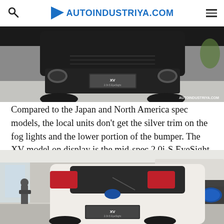AUTOINDUSTRIYA.COM
[Figure (photo): Front view of a Subaru XV (2.0i-S EyeSight) in a showroom, showing the front bumper. The AUTOINDUSTRIYA.COM watermark is visible in the lower right corner.]
Compared to the Japan and North America spec models, the local units don't get the silver trim on the fog lights and the lower portion of the bumper. The XV model on display is the mid-spec 2.0i-S EyeSight variant.
[Figure (photo): Rear three-quarter view of a white Subaru XV in a Subaru dealership showroom. A Subaru badge and 'SUBAR' signage is visible in the background, along with a person standing near the window.]